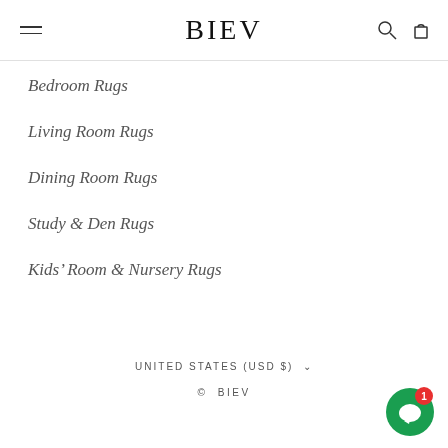BIEV
Bedroom Rugs
Living Room Rugs
Dining Room Rugs
Study & Den Rugs
Kids' Room & Nursery Rugs
UNITED STATES (USD $)
© BIEV
[Figure (other): Green chat widget button with notification badge showing 1]